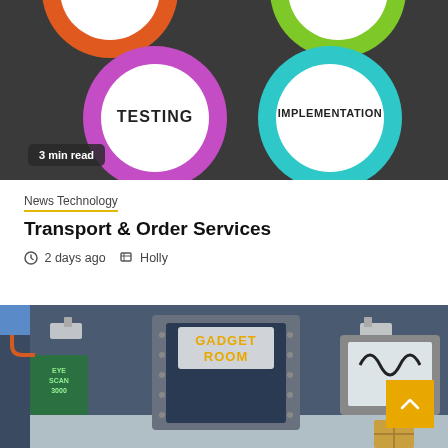[Figure (illustration): Top portion showing colored rings/circles (magenta, teal, orange, green) on dark background with '3 min read' badge, TESTING and IMPLEMENTATION labels]
News Technology
Transport & Order Services
2 days ago   Holly
[Figure (illustration): Cartoon illustration of a 'Gadget Room' with EYE SCAN 3000 panel, security cameras, robotic gadgets, and back-to-top arrow button]